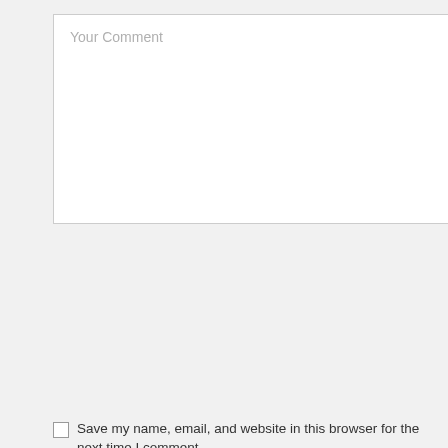Your Comment
Name *
Email *
Website
Save my name, email, and website in this browser for the next time I comment.